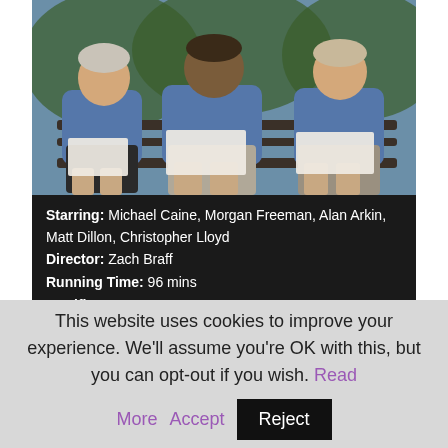[Figure (photo): Three older men in blue shirts sitting on a park bench, each holding papers in their laps.]
Starring: Michael Caine, Morgan Freeman, Alan Arkin, Matt Dillon, Christopher Lloyd
Director: Zach Braff
Running Time: 96 mins
Certificate: 12
Release Date: August 14th 2017 (UK)
As a feature film director, Scrubs star Zach Braff has previously helmed the quirky indie comedies Garden State and Wish I Were Here. He's gone far more mainstream with Going In Style, a movie that could
This website uses cookies to improve your experience. We'll assume you're OK with this, but you can opt-out if you wish. Read More Accept Reject